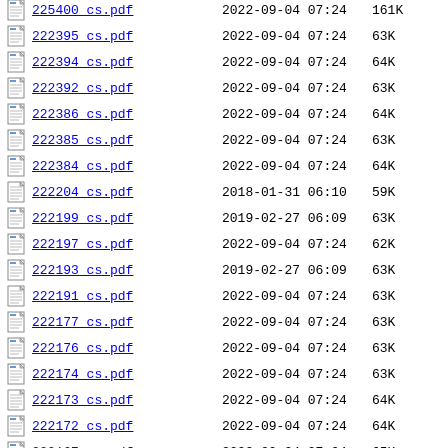225400 cs.pdf  2022-09-04 07:24  161K
222395 cs.pdf  2022-09-04 07:24  63K
222394 cs.pdf  2022-09-04 07:24  64K
222392 cs.pdf  2022-09-04 07:24  63K
222386 cs.pdf  2022-09-04 07:24  64K
222385 cs.pdf  2022-09-04 07:24  63K
222384 cs.pdf  2022-09-04 07:24  64K
222204 cs.pdf  2018-01-31 06:10  59K
222199 cs.pdf  2019-02-27 06:09  63K
222197 cs.pdf  2022-09-04 07:24  62K
222193 cs.pdf  2019-02-27 06:09  63K
222191 cs.pdf  2022-09-04 07:24  63K
222177 cs.pdf  2022-09-04 07:24  63K
222176 cs.pdf  2022-09-04 07:24  63K
222174 cs.pdf  2022-09-04 07:24  63K
222173 cs.pdf  2022-09-04 07:24  64K
222172 cs.pdf  2022-09-04 07:24  64K
222167 cs.pdf  2022-09-04 07:24  65K